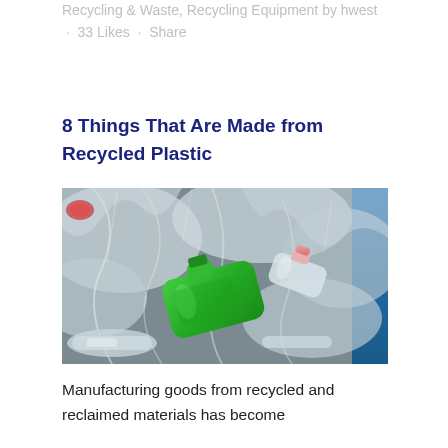Recycling & Waste, Recycling Equipment by hwest · 33 Likes · Share
8 Things That Are Made from Recycled Plastic
[Figure (photo): Photo of a recycling bin filled with clear plastic bottles, plastic bags, and a green plastic bottle/container in the center, with blue bin visible at the right edge.]
Manufacturing goods from recycled and reclaimed materials has become